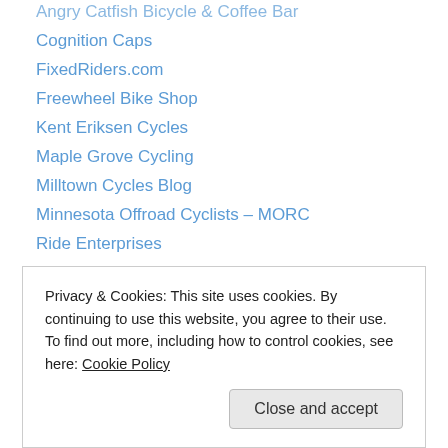Angry Catfish Bicycle & Coffee Bar
Cognition Caps
FixedRiders.com
Freewheel Bike Shop
Kent Eriksen Cycles
Maple Grove Cycling
Milltown Cycles Blog
Minnesota Offroad Cyclists – MORC
Ride Enterprises
The Front Range Chronicles
Trailhead Cycling
Monthly posts
Privacy & Cookies: This site uses cookies. By continuing to use this website, you agree to their use.
To find out more, including how to control cookies, see here: Cookie Policy